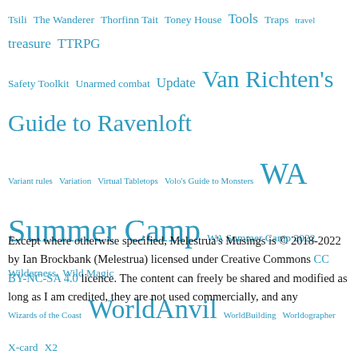Tsili The Wanderer Thorfinn Tait Toney House Tools Traps travel treasure TTRPG Safety Toolkit Unarmed combat Update Van Richten's Guide to Ravenloft Variant rules Variation Virtual Tabletops Volo's Guide to Monsters WA Summer Camp WA Summer Camp 2022 Wilderness Wild Magic Wizards of the Coast WorldAnvil WorldBuilding Worldographer X-card X2 Castle Amber XP
Except where otherwise specified, Melestrua's Musings is © 2018-2022 by Ian Brockbank (Melestrua) licensed under Creative Commons CC BY-NC-SA 4.0 licence. The content can freely be shared and modified as long as I am credited, they are not used commercially, and any